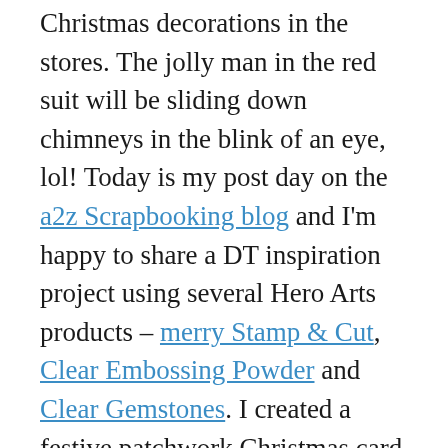Christmas decorations in the stores. The jolly man in the red suit will be sliding down chimneys in the blink of an eye, lol! Today is my post day on the a2z Scrapbooking blog and I'm happy to share a DT inspiration project using several Hero Arts products – merry Stamp & Cut, Clear Embossing Powder and Clear Gemstones. I created a festive patchwork Christmas card and my inspiration once again came from my friend, Dawn. ;)
Before I get to my project details, quite a few of the Hero Arts stamp sets and dies have sold out in the a2z Scrapbooking store and unfortunately this Stamp & Cut set was one of them. Yep, it happened again, lol! I work ahead and I think of how fun it is to share this